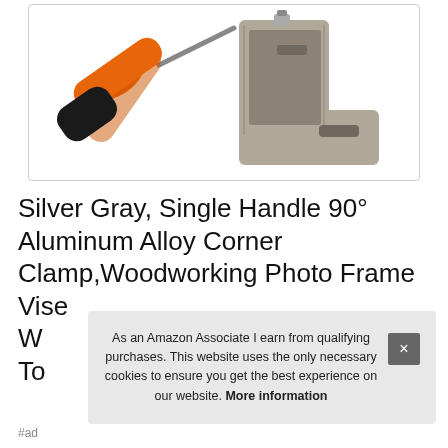[Figure (photo): A corner clamp tool with silver-gray aluminum alloy body and an orange-and-black single handle screwdriver-style grip, shown against a white background inside a rounded rectangle border.]
Silver Gray, Single Handle 90° Aluminum Alloy Corner Clamp,Woodworking Photo Frame Vise W... To...
As an Amazon Associate I earn from qualifying purchases. This website uses the only necessary cookies to ensure you get the best experience on our website. More information
#ad